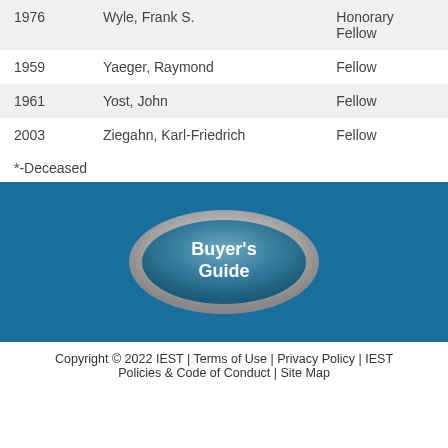| Year | Name | Title |
| --- | --- | --- |
| 1976 | Wyle, Frank S. | Honorary Fellow |
| 1959 | Yaeger, Raymond | Fellow |
| 1961 | Yost, John | Fellow |
| 2003 | Ziegahn, Karl-Friedrich | Fellow |
*-Deceased
[Figure (illustration): Buyer's Guide oval button with metallic silver border and blue-gray interior, white text reading Buyer's Guide]
Copyright © 2022 IEST | Terms of Use | Privacy Policy | IEST Policies & Code of Conduct | Site Map